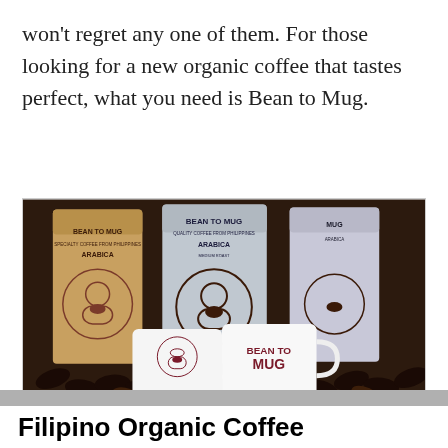won't regret any one of them. For those looking for a new organic coffee that tastes perfect, what you need is Bean to Mug.
[Figure (photo): Photo of Bean to Mug coffee product lineup: several coffee bags (silver and kraft paper) labeled 'BEAN TO MUG' and 'ARABICA', along with two white ceramic mugs with the Bean to Mug logo, all displayed on a bed of coffee beans.]
Share This
Filipino Organic Coffee